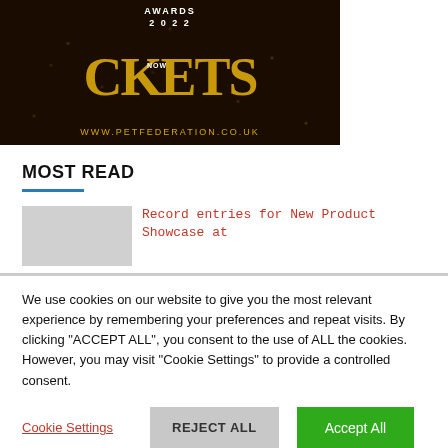[Figure (photo): Dark golden awards promotional banner showing 'AWARDS 2022' at top, large gold letters reading 'CKETS' (part of 'TICKETS') with 'NOW' below, and website URL www.petfederation.co.uk at bottom, with gold sparkle/star background]
MOST READ
Record entries for New Product Showcase at
We use cookies on our website to give you the most relevant experience by remembering your preferences and repeat visits. By clicking "ACCEPT ALL", you consent to the use of ALL the cookies. However, you may visit "Cookie Settings" to provide a controlled consent.
Cookie Settings   REJECT ALL   Accept All